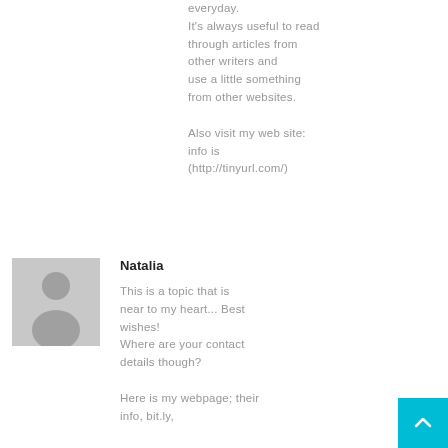everyday. It's always useful to read through articles from other writers and use a little something from other websites.

Also visit my web site: info is (http://tinyurl.com/)
[Figure (illustration): Gray avatar placeholder image showing a generic person silhouette (head and shoulders) on a gray background]
Natalia
This is a topic that is near to my heart... Best wishes! Where are your contact details though?

Here is my webpage; their info, bit.ly,